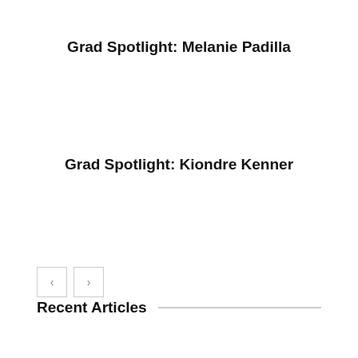Grad Spotlight: Melanie Padilla
Grad Spotlight: Kiondre Kenner
Recent Articles